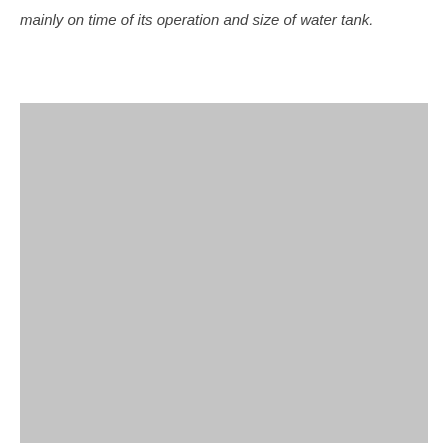mainly on time of its operation and size of water tank.
[Figure (photo): A large gray rectangular placeholder image occupying the lower portion of the page, representing a photograph or figure (content not visible, rendered as solid gray).]